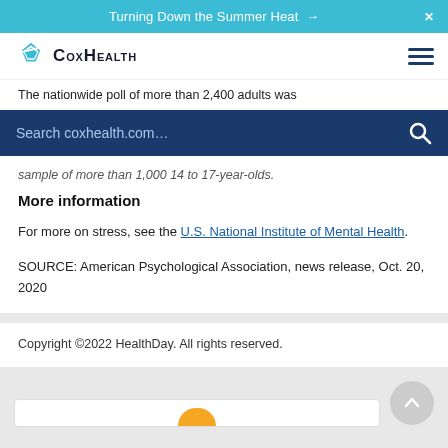Turning Down the Summer Heat →
[Figure (logo): CoxHealth logo with blue star/diamond shape and stylized text]
The nationwide poll of more than 2,400 adults was
Search coxhealth.com…
sample of more than 1,000 14 to 17-year-olds.
More information
For more on stress, see the U.S. National Institute of Mental Health.
SOURCE: American Psychological Association, news release, Oct. 20, 2020
Copyright ©2022 HealthDay. All rights reserved.